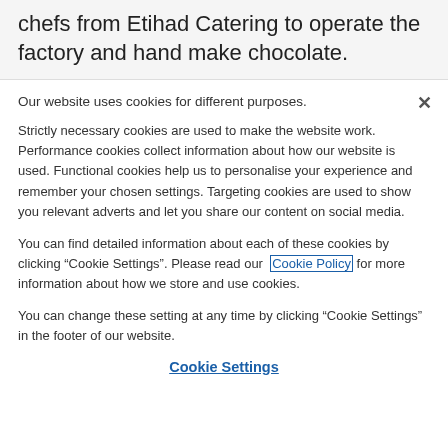chefs from Etihad Catering to operate the factory and hand make chocolate.
Our website uses cookies for different purposes.
Strictly necessary cookies are used to make the website work. Performance cookies collect information about how our website is used. Functional cookies help us to personalise your experience and remember your chosen settings. Targeting cookies are used to show you relevant adverts and let you share our content on social media.
You can find detailed information about each of these cookies by clicking “Cookie Settings”. Please read our Cookie Policy for more information about how we store and use cookies.
You can change these setting at any time by clicking “Cookie Settings” in the footer of our website.
Cookie Settings